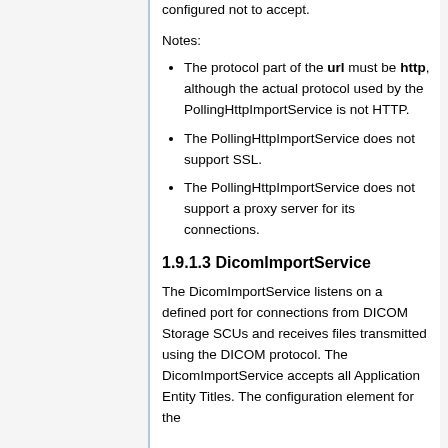configured not to accept.
Notes:
The protocol part of the url must be http, although the actual protocol used by the PollingHttpImportService is not HTTP.
The PollingHttpImportService does not support SSL.
The PollingHttpImportService does not support a proxy server for its connections.
1.9.1.3 DicomImportService
The DicomImportService listens on a defined port for connections from DICOM Storage SCUs and receives files transmitted using the DICOM protocol. The DicomImportService accepts all Application Entity Titles. The configuration element for the